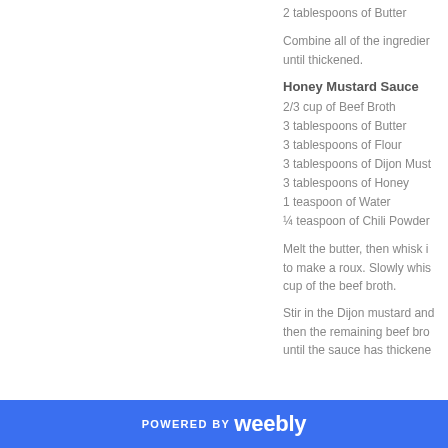2 tablespoons of Butter
Combine all of the ingredients until thickened.
Honey Mustard Sauce
2/3 cup of Beef Broth
3 tablespoons of Butter
3 tablespoons of Flour
3 tablespoons of Dijon Must...
3 tablespoons of Honey
1 teaspoon of Water
¼ teaspoon of Chili Powder
Melt the butter, then whisk in to make a roux. Slowly whisk cup of the beef broth.
Stir in the Dijon mustard and then the remaining beef broth until the sauce has thickened.
POWERED BY weebly